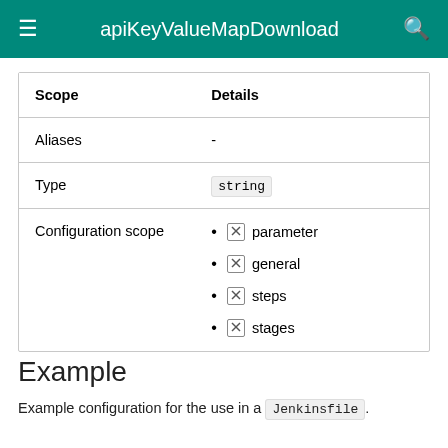apiKeyValueMapDownload
| Scope | Details |
| --- | --- |
| Aliases | - |
| Type | string |
| Configuration scope | • ☒ parameter
• ☒ general
• ☒ steps
• ☒ stages |
Example
Example configuration for the use in a Jenkinsfile.